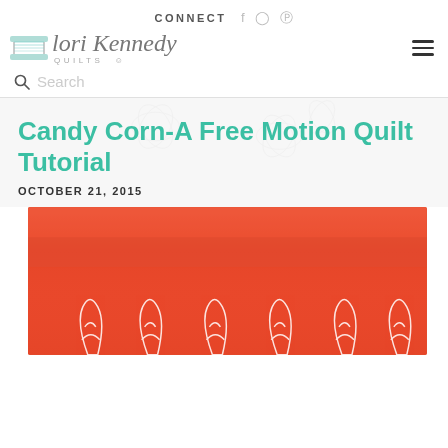CONNECT
[Figure (logo): Lori Kennedy Quilts logo with spool of teal thread and cursive script text]
Search
Candy Corn-A Free Motion Quilt Tutorial
OCTOBER 21, 2015
[Figure (photo): Red/orange fabric with white stitched candy corn shapes in a row]